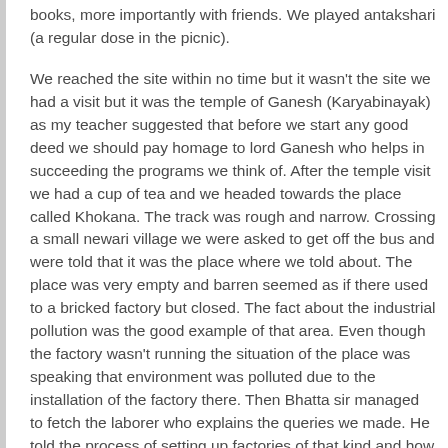books, more importantly with friends. We played antakshari (a regular dose in the picnic).
We reached the site within no time but it wasn't the site we had a visit but it was the temple of Ganesh (Karyabinayak) as my teacher suggested that before we start any good deed we should pay homage to lord Ganesh who helps in succeeding the programs we think of. After the temple visit we had a cup of tea and we headed towards the place called Khokana. The track was rough and narrow. Crossing a small newari village we were asked to get off the bus and were told that it was the place where we told about. The place was very empty and barren seemed as if there used to a bricked factory but closed. The fact about the industrial pollution was the good example of that area. Even though the factory wasn't running the situation of the place was speaking that environment was polluted due to the installation of the factory there. Then Bhatta sir managed to fetch the laborer who explains the queries we made. He told the process of setting up factories of that kind and how the bricks are made and burn, migrating the whole plant to other place.